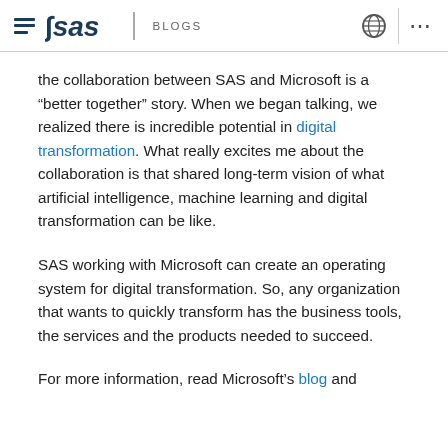SAS BLOGS
the collaboration between SAS and Microsoft is a “better together” story. When we began talking, we realized there is incredible potential in digital transformation. What really excites me about the collaboration is that shared long-term vision of what artificial intelligence, machine learning and digital transformation can be like.
SAS working with Microsoft can create an operating system for digital transformation. So, any organization that wants to quickly transform has the business tools, the services and the products needed to succeed.
For more information, read Microsoft’s blog and